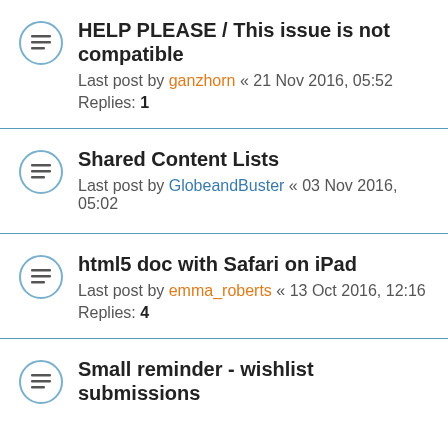HELP PLEASE / This issue is not compatible
Last post by ganzhorn « 21 Nov 2016, 05:52
Replies: 1
Shared Content Lists
Last post by GlobeandBuster « 03 Nov 2016, 05:02
html5 doc with Safari on iPad
Last post by emma_roberts « 13 Oct 2016, 12:16
Replies: 4
Small reminder - wishlist submissions